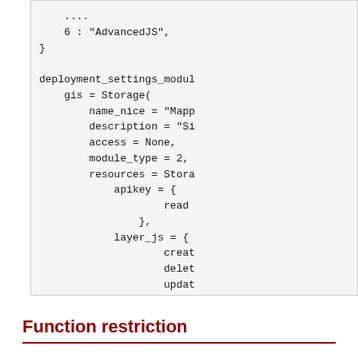....
    6 : "AdvancedJS",
}

deployment_settings_modul
    gis = Storage(
        name_nice = "Mapp
        description = "Si
        access = None,
        module_type = 2,
        resources = Stora
            apikey = {
                    read
                },
            layer_js = {
                    creat
                    delet
                    updat

                }
        ),
    ),
    ...
)
Function restriction